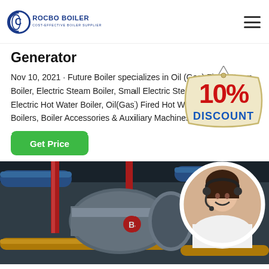ROCBO BOILER – COST-EFFECTIVE BOILER SUPPLIER
Generator
Nov 10, 2021 · Future Boiler specializes in Oil (Gas) Fired Steam Boiler, Electric Steam Boiler, Small Electric Steam Generator, Electric Hot Water Boiler, Oil(Gas) Fired Hot Water Boiler, Marine Boilers, Boiler Accessories & Auxiliary Machines, t...
[Figure (infographic): 10% DISCOUNT badge/sticker graphic with red and blue text on beige background]
[Figure (photo): Industrial boiler room with blue and yellow pipes, large cylindrical boiler vessel, and overlapping circular inset photo of smiling female customer service agent wearing headset]